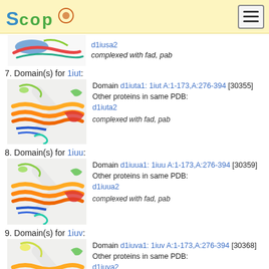SCOP logo and navigation menu
[Figure (photo): Partial protein structure image at top of page (cropped from previous entry d1iusa2)]
d1iusa2
complexed with fad, pab
7. Domain(s) for 1iut:
[Figure (photo): 3D ribbon structure of protein 1iut, colored rainbow from blue to red]
Domain d1iuta1: 1iut A:1-173,A:276-394 [30355]
Other proteins in same PDB: d1iuta2
complexed with fad, pab
8. Domain(s) for 1iuu:
[Figure (photo): 3D ribbon structure of protein 1iuu, colored rainbow from blue to red]
Domain d1iuua1: 1iuu A:1-173,A:276-394 [30359]
Other proteins in same PDB: d1iuua2
complexed with fad, pab
9. Domain(s) for 1iuv:
[Figure (photo): 3D ribbon structure of protein 1iuv, colored rainbow from blue to red (partially visible)]
Domain d1iuva1: 1iuv A:1-173,A:276-394 [30368]
Other proteins in same PDB: d1iuva2